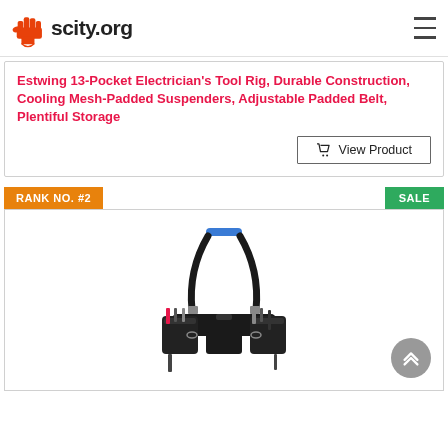scity.org
Estwing 13-Pocket Electrician's Tool Rig, Durable Construction, Cooling Mesh-Padded Suspenders, Adjustable Padded Belt, Plentiful Storage
View Product
RANK NO. #2
SALE
[Figure (photo): Estwing electrician's tool rig with black padded belt and suspenders, multiple pockets filled with tools, shown on white background]